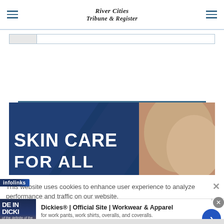River Cities Tribune & Register
[Figure (screenshot): Sign up button (blue) and Manage your lists button (outlined)]
[Figure (photo): Skin Care For All advertisement image with dark blue background and hand]
This website uses cookies to enhance user experience to analyze performance and traffic on our website.
[Figure (infographic): Infolinks advertisement badge with Dickies workwear ad: Dickies® | Official Site | Workwear & Apparel, for work pants, work shirts, overalls, and coveralls. www.dickies.com]